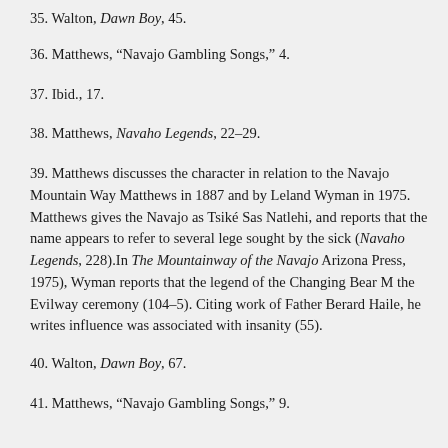35. Walton, Dawn Boy, 45.
36. Matthews, “Navajo Gambling Songs,” 4.
37. Ibid., 17.
38. Matthews, Navaho Legends, 22–29.
39. Matthews discusses the character in relation to the Navajo Mountain Way Matthews in 1887 and by Leland Wyman in 1975. Matthews gives the Navajo as Tsiké Sas Natlehi, and reports that the name appears to refer to several lege sought by the sick (Navaho Legends, 228).In The Mountainway of the Navajo Arizona Press, 1975), Wyman reports that the legend of the Changing Bear M the Evilway ceremony (104–5). Citing work of Father Berard Haile, he writes influence was associated with insanity (55).
40. Walton, Dawn Boy, 67.
41. Matthews, “Navajo Gambling Songs,” 9.